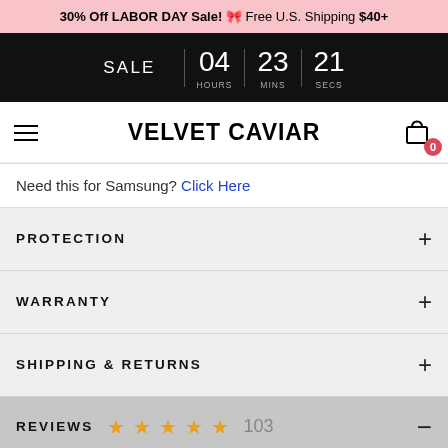30% Off LABOR DAY Sale! 🎀 Free U.S. Shipping $40+
SALE 04 HOURS 23 MINS 21 SECS
VELVET CAVIAR
Need this for Samsung? Click Here
PROTECTION
WARRANTY
SHIPPING & RETURNS
REVIEWS ★★★★★ 103